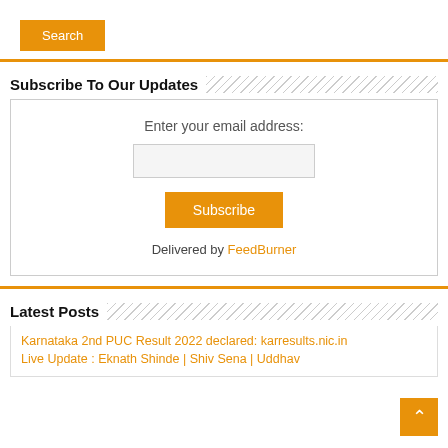[Figure (screenshot): Orange 'Search' button]
Subscribe To Our Updates
[Figure (screenshot): Email subscription box with input field, Subscribe button, and 'Delivered by FeedBurner' text]
Latest Posts
Karnataka 2nd PUC Result 2022 declared: karresults.nic.in
Live Update : Eknath Shinde | Shiv Sena | Uddhav